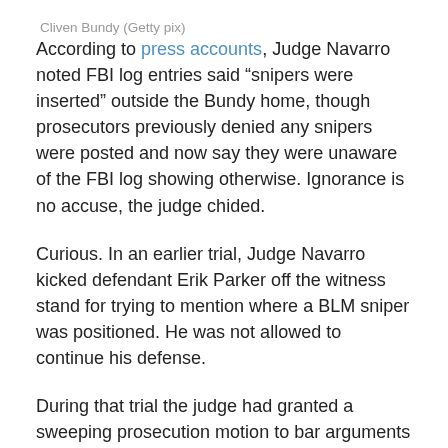Cliven Bundy (Getty pix)
According to press accounts, Judge Navarro noted FBI log entries said “snipers were inserted” outside the Bundy home, though prosecutors previously denied any snipers were posted and now say they were unaware of the FBI log showing otherwise. Ignorance is no accuse, the judge chided.
Curious. In an earlier trial, Judge Navarro kicked defendant Erik Parker off the witness stand for trying to mention where a BLM sniper was positioned. He was not allowed to continue his defense.
During that trial the judge had granted a sweeping prosecution motion to bar arguments about the defendants’ “state of mind,” such as whether they were